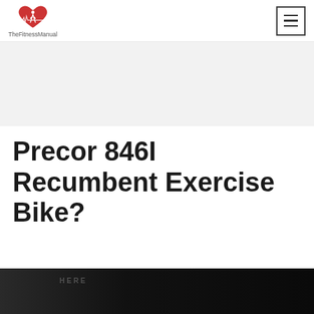TheFitnessManual
[Figure (other): Gray advertisement banner area]
Precor 846I Recumbent Exercise Bike?
[Figure (photo): Dark photo of exercise bike in a gym environment, partially visible at bottom of page]